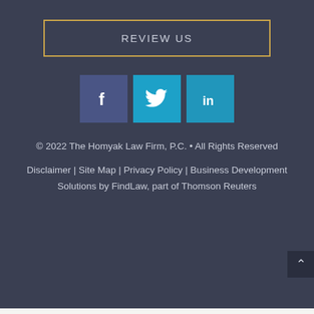REVIEW US
[Figure (other): Social media icons: Facebook (dark blue-purple square), Twitter (cyan square), LinkedIn (blue square)]
© 2022 The Homyak Law Firm, P.C. • All Rights Reserved
Disclaimer | Site Map | Privacy Policy | Business Development Solutions by FindLaw, part of Thomson Reuters